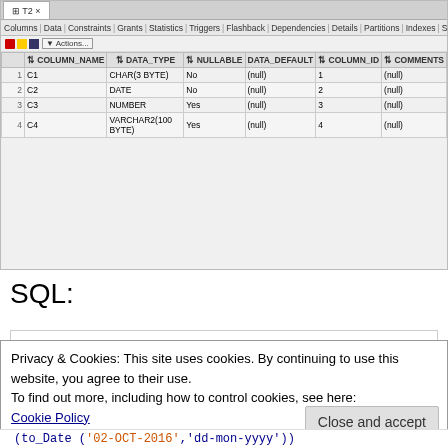[Figure (screenshot): Oracle SQL Developer screenshot showing table T2 column definitions with columns: COLUMN_NAME, DATA_TYPE, NULLABLE, DATA_DEFAULT, COLUMN_ID, COMMENTS. Rows: 1 C1 CHAR(3 BYTE) No (null) 1 (null); 2 C2 DATE No (null) 2 (null); 3 C3 NUMBER Yes (null) 3 (null); 4 C4 VARCHAR2(100 BYTE) Yes (null) 4 (null)]
SQL:
[Figure (screenshot): Code box showing SQL: create table t2 (c1 char(3) not null ...]
Privacy & Cookies: This site uses cookies. By continuing to use this website, you agree to their use.
To find out more, including how to control cookies, see here:
Cookie Policy
Close and accept
(to_Date ('02-OCT-2016','dd-mon-yyyy'))